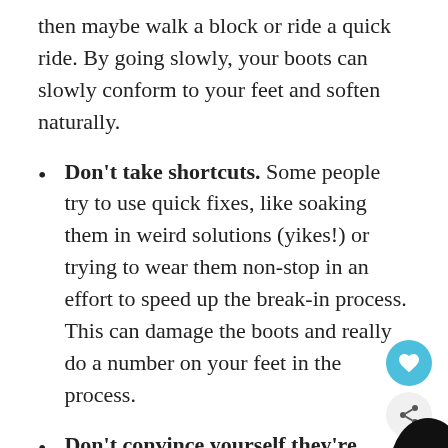then maybe walk a block or ride a quick ride. By going slowly, your boots can slowly conform to your feet and soften naturally.
Don't take shortcuts. Some people try to use quick fixes, like soaking them in weird solutions (yikes!) or trying to wear them non-stop in an effort to speed up the break-in process. This can damage the boots and really do a number on your feet in the process.
Don't convince yourself they're working if they're not. If you bought